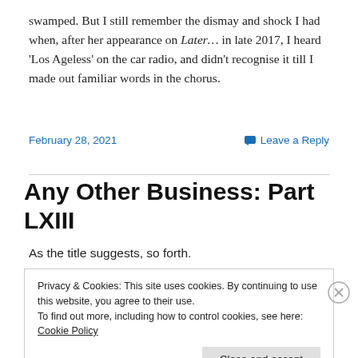swamped. But I still remember the dismay and shock I had when, after her appearance on Later… in late 2017, I heard 'Los Ageless' on the car radio, and didn't recognise it till I made out familiar words in the chorus.
February 28, 2021
Leave a Reply
Any Other Business: Part LXIII
As the title suggests, so forth.
Privacy & Cookies: This site uses cookies. By continuing to use this website, you agree to their use.
To find out more, including how to control cookies, see here: Cookie Policy
Close and accept